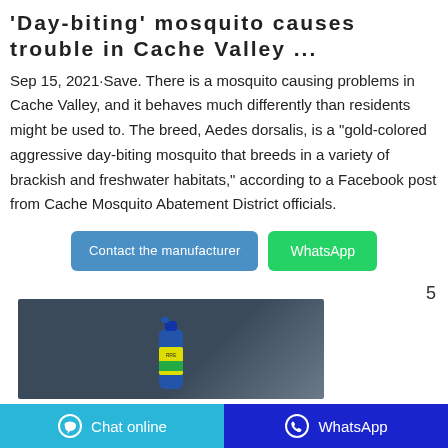'Day-biting' mosquito causes trouble in Cache Valley ...
Sep 15, 2021·Save. There is a mosquito causing problems in Cache Valley, and it behaves much differently than residents might be used to. The breed, Aedes dorsalis, is a "gold-colored aggressive day-biting mosquito that breeds in a variety of brackish and freshwater habitats," according to a Facebook post from Cache Mosquito Abatement District officials.
[Figure (infographic): Two buttons: 'Contact the manufacturer' (blue) and 'WhatsApp' (green)]
[Figure (photo): Photo of a spray can (insect repellent/mosquito product) against a dark blue-grey background with some plant foliage visible, with page number 5 to the right]
Chat online   WhatsApp